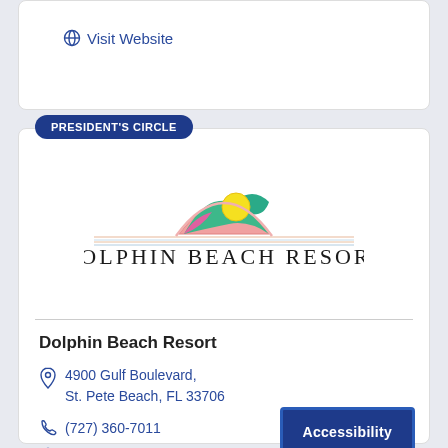Visit Website
[Figure (logo): Dolphin Beach Resort logo with colorful semicircle graphic above the text 'DOLPHIN BEACH RESORT' in elegant serif font with decorative lines]
Dolphin Beach Resort
4900 Gulf Boulevard, St. Pete Beach, FL 33706
(727) 360-7011
Visit Website
Accessibility